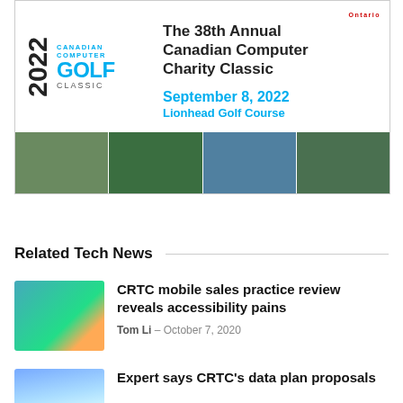[Figure (infographic): Advertisement for the 38th Annual Canadian Computer Charity Classic golf event. Features '2022 Canadian Computer Golf Classic' logo on the left, and event details on the right: 'The 38th Annual Canadian Computer Charity Classic', 'September 8, 2022', 'Lionhead Golf Course'. Below are four outdoor/activity photos.]
Related Tech News
[Figure (photo): Thumbnail photo for CRTC mobile sales article – people at a mobile retail store]
CRTC mobile sales practice review reveals accessibility pains
Tom Li – October 7, 2020
[Figure (photo): Thumbnail photo for Expert says CRTC article – Parliament Hill or government building]
Expert says CRTC's data plan proposals